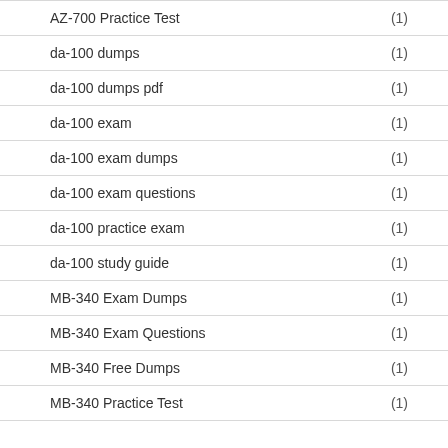AZ-700 Practice Test (1)
da-100 dumps (1)
da-100 dumps pdf (1)
da-100 exam (1)
da-100 exam dumps (1)
da-100 exam questions (1)
da-100 practice exam (1)
da-100 study guide (1)
MB-340 Exam Dumps (1)
MB-340 Exam Questions (1)
MB-340 Free Dumps (1)
MB-340 Practice Test (1)